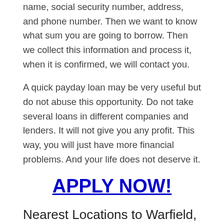name, social security number, address, and phone number. Then we want to know what sum you are going to borrow. Then we collect this information and process it, when it is confirmed, we will contact you.
A quick payday loan may be very useful but do not abuse this opportunity. Do not take several loans in different companies and lenders. It will not give you any profit. This way, you will just have more financial problems. And your life does not deserve it.
APPLY NOW!
Nearest Locations to Warfield, Virginia are:
Alberta, Virginia
Dewitt, Virginia